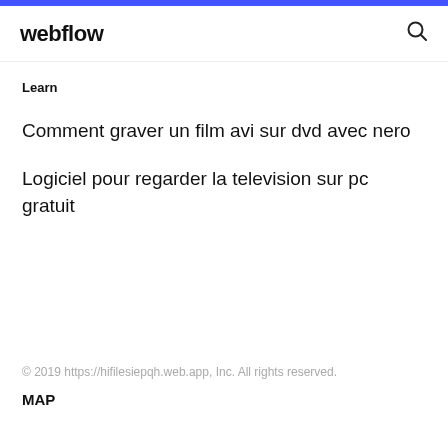webflow
Learn
Comment graver un film avi sur dvd avec nero
Logiciel pour regarder la television sur pc gratuit
© 2019 https://hifilesiepqh.web.app, Inc. All rights reserved.
MAP